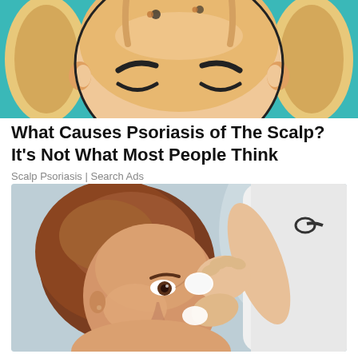[Figure (illustration): Illustrated cartoon-style image of a bald person with eyes closed, showing scalp and skin, on a teal background, representing scalp psoriasis]
What Causes Psoriasis of The Scalp? It's Not What Most People Think
Scalp Psoriasis | Search Ads
[Figure (photo): Photograph of a middle-aged woman with short brown hair looking upward while a healthcare professional applies or examines something near her eye area with a cotton pad]